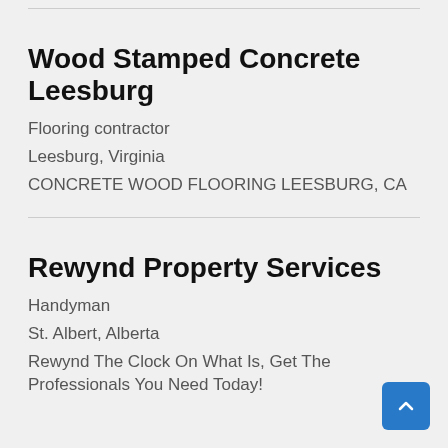Wood Stamped Concrete Leesburg
Flooring contractor
Leesburg, Virginia
CONCRETE WOOD FLOORING LEESBURG, CA
Rewynd Property Services
Handyman
St. Albert, Alberta
Rewynd The Clock On What Is, Get The Professionals You Need Today!